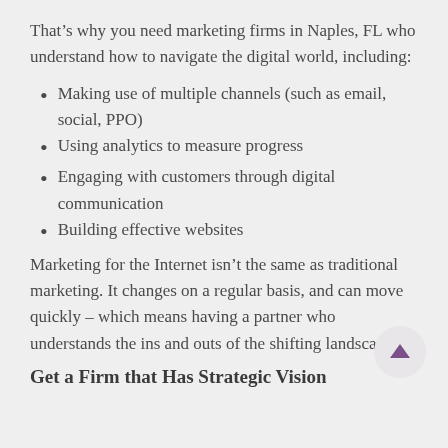That’s why you need marketing firms in Naples, FL who understand how to navigate the digital world, including:
Making use of multiple channels (such as email, social, PPO)
Using analytics to measure progress
Engaging with customers through digital communication
Building effective websites
Marketing for the Internet isn’t the same as traditional marketing. It changes on a regular basis, and can move quickly – which means having a partner who understands the ins and outs of the shifting landscape.
Get a Firm that Has Strategic Vision